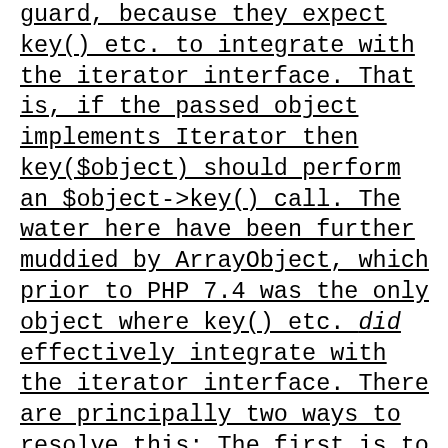guard, because they expect key() etc. to integrate with the iterator interface. That is, if the passed object implements Iterator then key($object) should perform an $object->key() call. The water here have been further muddied by ArrayObject, which prior to PHP 7.4 was the only object where key() etc. did effectively integrate with the iterator interface. There are principally two ways to resolve this: The first is to deprecate the use of key() etc on objects, and instead require people to perform an explicit (array) cast or get mangled object vars() call beforehand. The other is to